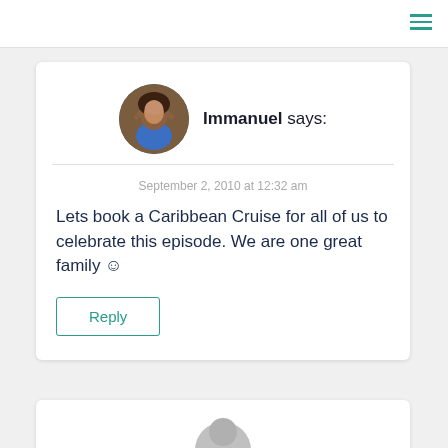[Figure (photo): Circular avatar photo of a young man in a blue shirt]
Immanuel says:
September 2, 2010 at 12:32 am
Lets book a Caribbean Cruise for all of us to celebrate this episode. We are one great family ☺
Reply
[Figure (photo): Partial circular avatar at bottom of page (second comment card, cropped)]